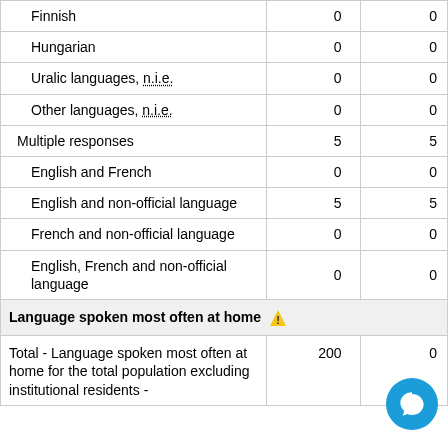| Language | Value1 | Value2 |
| --- | --- | --- |
| Finnish | 0 | 0 |
| Hungarian | 0 | 0 |
| Uralic languages, n.i.e. | 0 | 0 |
| Other languages, n.i.e. | 0 | 0 |
| Multiple responses | 5 | 5 |
| English and French | 0 | 0 |
| English and non-official language | 5 | 5 |
| French and non-official language | 0 | 0 |
| English, French and non-official language | 0 | 0 |
| Language spoken most often at home ⚠ |  |  |
| Total - Language spoken most often at home for the total population excluding institutional residents - | 200 | 0 |